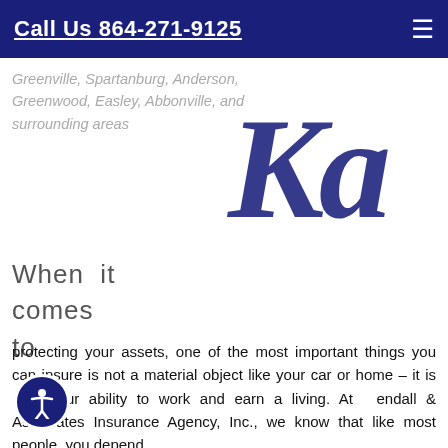Call Us 864-271-9125
Greenville, Spartanburg, Anderson, Greenwood, Easley, Abbonville, and surrounding areas
[Figure (logo): Ka logo — large stylized italic K and a letters in dark navy blue]
When it comes to
protecting your assets, one of the most important things you can insure is not a material object like your car or home – it is your ability to work and earn a living. At Kendall & Associates Insurance Agency, Inc., we know that like most people, you depend